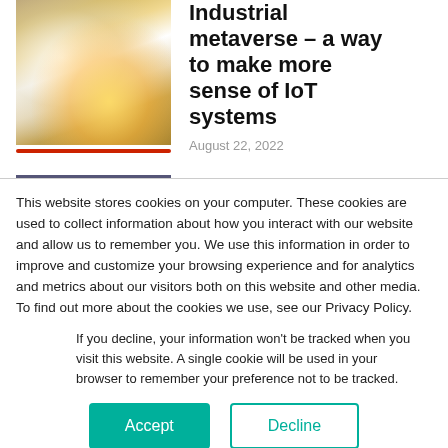[Figure (photo): Industrial worker or technician with gloves and bright light/sparks, abstract motion blur background]
Industrial metaverse – a way to make more sense of IoT systems
August 22, 2022
This website stores cookies on your computer. These cookies are used to collect information about how you interact with our website and allow us to remember you. We use this information in order to improve and customize your browsing experience and for analytics and metrics about our visitors both on this website and other media. To find out more about the cookies we use, see our Privacy Policy.
If you decline, your information won't be tracked when you visit this website. A single cookie will be used in your browser to remember your preference not to be tracked.